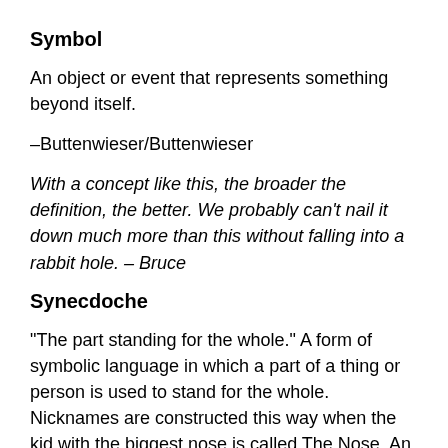Symbol
An object or event that represents something beyond itself.
–Buttenwieser/Buttenwieser
With a concept like this, the broader the definition, the better. We probably can't nail it down much more than this without falling into a rabbit hole. – Bruce
Synecdoche
“The part standing for the whole.” A form of symbolic language in which a part of a thing or person is used to stand for the whole. Nicknames are constructed this way when the kid with the biggest nose is called The Nose. An author may either name a character for a certain